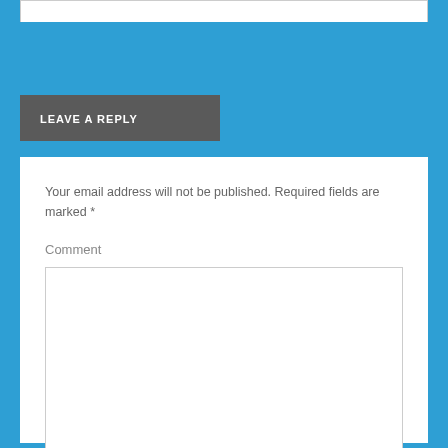LEAVE A REPLY
Your email address will not be published. Required fields are marked *
Comment